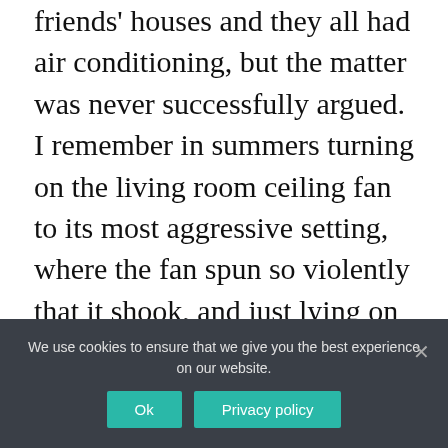friends' houses and they all had air conditioning, but the matter was never successfully argued. I remember in summers turning on the living room ceiling fan to its most aggressive setting, where the fan spun so violently that it shook, and just lying on the carpet, belly up, sweating. (Though I know I can't rely on this moment to be fully true. It is probably edited.) The excuse my parents have now for installing
We use cookies to ensure that we give you the best experience on our website.